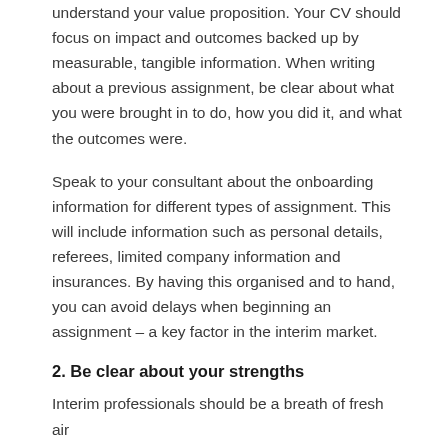understand your value proposition. Your CV should focus on impact and outcomes backed up by measurable, tangible information. When writing about a previous assignment, be clear about what you were brought in to do, how you did it, and what the outcomes were.
Speak to your consultant about the onboarding information for different types of assignment. This will include information such as personal details, referees, limited company information and insurances. By having this organised and to hand, you can avoid delays when beginning an assignment – a key factor in the interim market.
2. Be clear about your strengths
Interim professionals should be a breath of fresh air